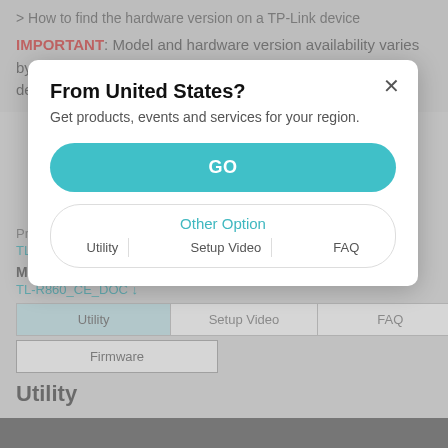> How to find the hardware version on a TP-Link device
IMPORTANT: Model and hardware version availability varies by region. Please refer to your TP-Link regional website to determine product availability.
Product Overview
TL-R860_V5_Datasheet ↓
Manual
TL-R860_CE_DOC ↓
[Figure (screenshot): Modal dialog overlay: 'From United States?' with subtitle 'Get products, events and services for your region.' A teal GO button and an Other Option box with Setup Video and FAQ tabs.]
Utility | Setup Video | FAQ
Firmware
Utility